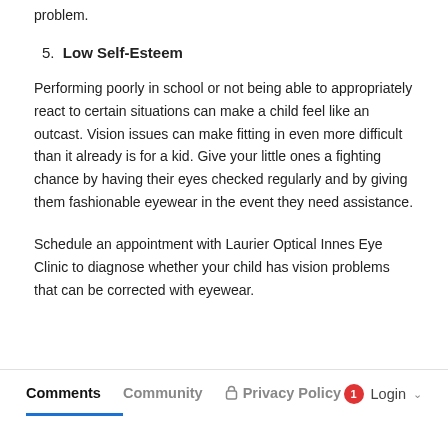problem.
5. Low Self-Esteem
Performing poorly in school or not being able to appropriately react to certain situations can make a child feel like an outcast. Vision issues can make fitting in even more difficult than it already is for a kid. Give your little ones a fighting chance by having their eyes checked regularly and by giving them fashionable eyewear in the event they need assistance.
Schedule an appointment with Laurier Optical Innes Eye Clinic to diagnose whether your child has vision problems that can be corrected with eyewear.
Comments  Community  Privacy Policy  Login